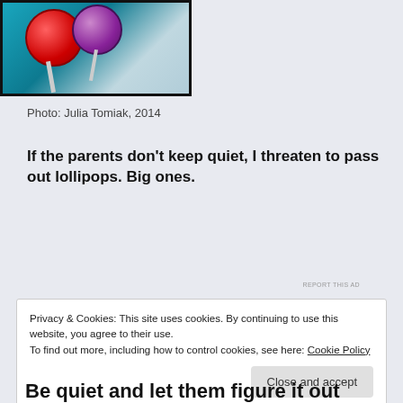[Figure (photo): Photo of colorful lollipops (red and purple) on a teal/blue background]
Photo: Julia Tomiak, 2014
If the parents don't keep quiet, I threaten to pass out lollipops. Big ones.
[Figure (infographic): Advertisement banner: P logo, THAT MEANS BUSINESS. with OPEN sign on right]
Privacy & Cookies: This site uses cookies. By continuing to use this website, you agree to their use.
To find out more, including how to control cookies, see here: Cookie Policy
Close and accept
Be quiet and let them figure it out